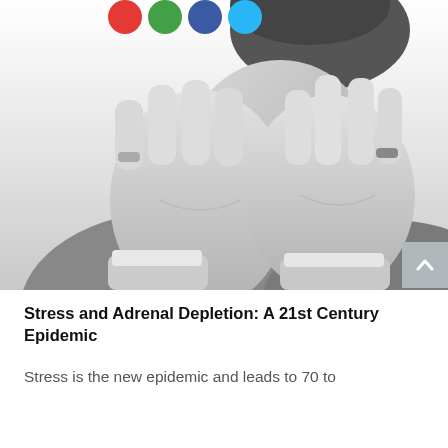[Figure (photo): Black and white photo of a man covering his face with both hands, wearing rings, in a suit — conveying stress or despair. Partially visible at the top are four colored social sharing circles (red, green, blue, light blue).]
Stress and Adrenal Depletion: A 21st Century Epidemic
Stress is the new epidemic and leads to 70 to